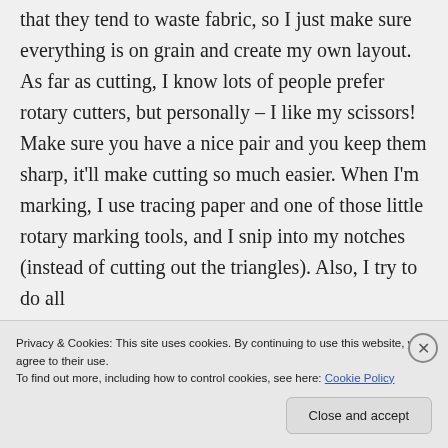that they tend to waste fabric, so I just make sure everything is on grain and create my own layout. As far as cutting, I know lots of people prefer rotary cutters, but personally – I like my scissors! Make sure you have a nice pair and you keep them sharp, it'll make cutting so much easier. When I'm marking, I use tracing paper and one of those little rotary marking tools, and I snip into my notches (instead of cutting out the triangles). Also, I try to do all
Privacy & Cookies: This site uses cookies. By continuing to use this website, you agree to their use.
To find out more, including how to control cookies, see here: Cookie Policy